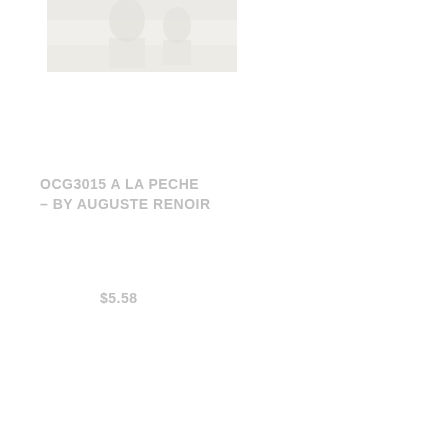[Figure (photo): Faded/washed-out photograph of a painting, very light and nearly white, positioned in upper-left area of page]
OCG3015 A LA PECHE – BY AUGUSTE RENOIR
$5.58